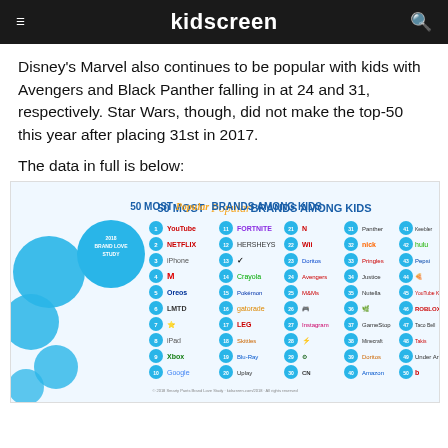kidscreen
Disney's Marvel also continues to be popular with kids with Avengers and Black Panther falling in at 24 and 31, respectively. Star Wars, though, did not make the top-50 this year after placing 31st in 2017.
The data in full is below:
[Figure (infographic): 50 Most Popular Brands Among Kids infographic from 2018 Brand Love Study, listing brands numbered 1-50 in a grid with logos, including YouTube, Netflix, iPhone, McDonald's, Oreos, LMTD, Xbox, Google, Fortnite, Hersheys, Nike, Crayola, McDonald's, Gatorade, etc. across 5 columns.]